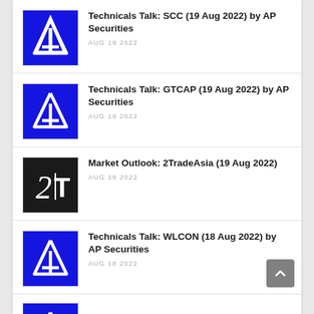Technicals Talk: SCC (19 Aug 2022) by AP Securities
AUG 19 2022
Technicals Talk: GTCAP (19 Aug 2022) by AP Securities
AUG 19 2022
Market Outlook: 2TradeAsia (19 Aug 2022)
AUG 19 2022
Technicals Talk: WLCON (18 Aug 2022) by AP Securities
AUG 18 2022